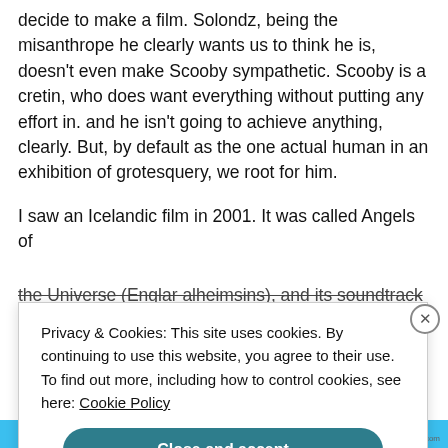decide to make a film. Solondz, being the misanthrope he clearly wants us to think he is, doesn't even make Scooby sympathetic. Scooby is a cretin, who does want everything without putting any effort in. and he isn't going to achieve anything, clearly. But, by default as the one actual human in an exhibition of grotesquery, we root for him.
I saw an Icelandic film in 2001. It was called Angels of the Universe (Englar alheimsins), and its soundtrack
Privacy & Cookies: This site uses cookies. By continuing to use this website, you agree to their use.
To find out more, including how to control cookies, see here: Cookie Policy
Close and accept